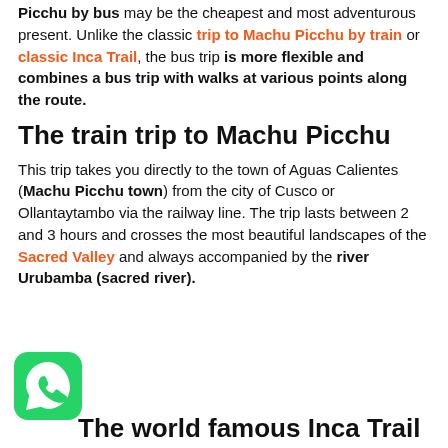Picchu by bus may be the cheapest and most adventurous present. Unlike the classic trip to Machu Picchu by train or classic Inca Trail, the bus trip is more flexible and combines a bus trip with walks at various points along the route.
The train trip to Machu Picchu
This trip takes you directly to the town of Aguas Calientes (Machu Picchu town) from the city of Cusco or Ollantaytambo via the railway line. The trip lasts between 2 and 3 hours and crosses the most beautiful landscapes of the Sacred Valley and always accompanied by the river Urubamba (sacred river).
[Figure (logo): WhatsApp logo icon, green circle with white phone handset]
The world famous Inca Trail